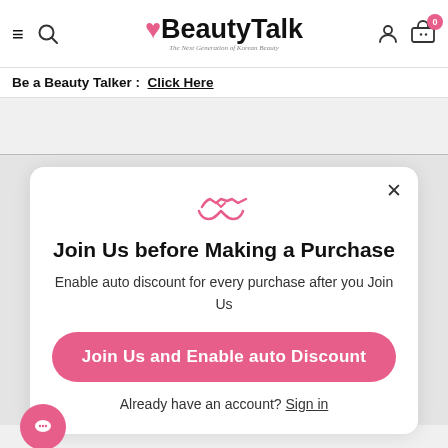BeautyTalk – The Next Generation of Korean Beauty
Be a Beauty Talker : Click Here
[Figure (screenshot): Modal popup with handshake icon, title 'Join Us before Making a Purchase', subtitle 'Enable auto discount for every purchase after you Join Us', a pink button 'Join Us and Enable auto Discount', and a sign in link.]
Join Us before Making a Purchase
Enable auto discount for every purchase after you Join Us
Join Us and Enable auto Discount
Already have an account? Sign in